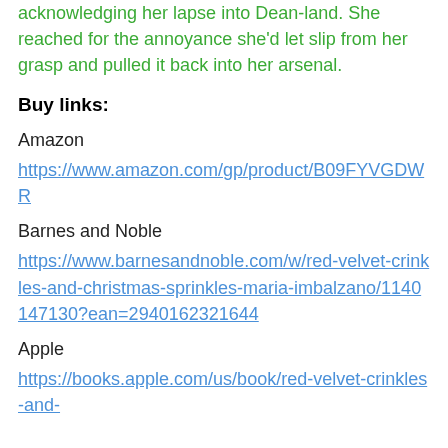acknowledging her lapse into Dean-land. She reached for the annoyance she'd let slip from her grasp and pulled it back into her arsenal.
Buy links:
Amazon
https://www.amazon.com/gp/product/B09FYVGDWR
Barnes and Noble
https://www.barnesandnoble.com/w/red-velvet-crinkles-and-christmas-sprinkles-maria-imbalzano/1140147130?ean=2940162321644
Apple
https://books.apple.com/us/book/red-velvet-crinkles-and-